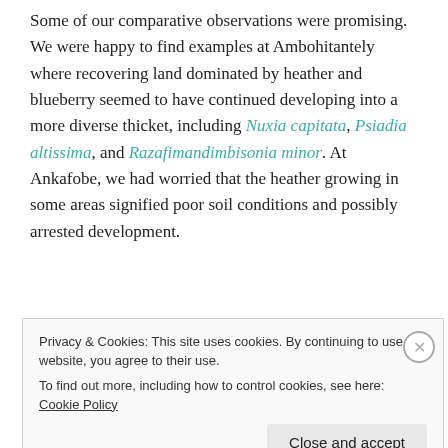Some of our comparative observations were promising. We were happy to find examples at Ambohitantely where recovering land dominated by heather and blueberry seemed to have continued developing into a more diverse thicket, including Nuxia capitata, Psiadia altissima, and Razafimandimbisonia minor. At Ankafobe, we had worried that the heather growing in some areas signified poor soil conditions and possibly arrested development.
Overall our visit left us with more questions than answers. We hope to answer at least a couple of them
Privacy & Cookies: This site uses cookies. By continuing to use this website, you agree to their use. To find out more, including how to control cookies, see here: Cookie Policy